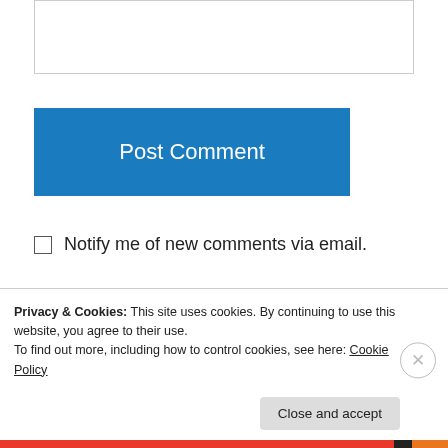[Figure (other): Text area input box (empty)]
Post Comment
Notify me of new comments via email.
Notify me of new posts via email.
Julie Goldberg on October 17, 2011 at 1:24 pm
I wrote recently about the incredibly damaging
Privacy & Cookies: This site uses cookies. By continuing to use this website, you agree to their use.
To find out more, including how to control cookies, see here: Cookie Policy
Close and accept